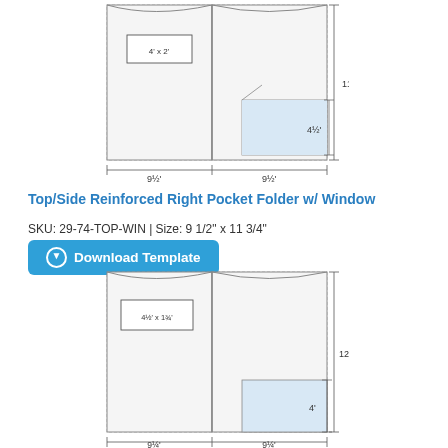[Figure (engineering-diagram): Top/Side Reinforced Right Pocket Folder with Window schematic. Shows open folder with left panel (4x2 window label) and right panel with shaded pocket area (4½ height). Dimensions: 9½ x 9½ width, 11¾ height.]
Top/Side Reinforced Right Pocket Folder w/ Window
SKU: 29-74-TOP-WIN | Size: 9 1/2" x 11 3/4"
[Figure (other): Download Template button with circle-arrow icon]
[Figure (engineering-diagram): Bottom folder schematic. Shows open folder with left panel (4½ x 1¾ window label) and right panel with shaded pocket area (4 height). Dimensions: 9¼ x 9¼ width, 12 height.]